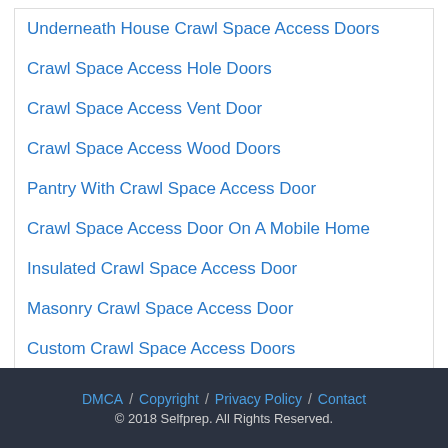Underneath House Crawl Space Access Doors
Crawl Space Access Hole Doors
Crawl Space Access Vent Door
Crawl Space Access Wood Doors
Pantry With Crawl Space Access Door
Crawl Space Access Door On A Mobile Home
Insulated Crawl Space Access Door
Masonry Crawl Space Access Door
Custom Crawl Space Access Doors
DMCA / Copyright / Privacy Policy / Contact © 2018 Selfprep. All Rights Reserved.